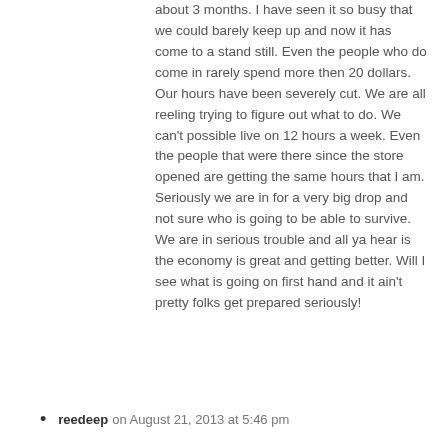about 3 months. I have seen it so busy that we could barely keep up and now it has come to a stand still. Even the people who do come in rarely spend more then 20 dollars. Our hours have been severely cut. We are all reeling trying to figure out what to do. We can't possible live on 12 hours a week. Even the people that were there since the store opened are getting the same hours that I am. Seriously we are in for a very big drop and not sure who is going to be able to survive. We are in serious trouble and all ya hear is the economy is great and getting better. Will I see what is going on first hand and it ain't pretty folks get prepared seriously!
reedeep on August 21, 2013 at 5:46 pm